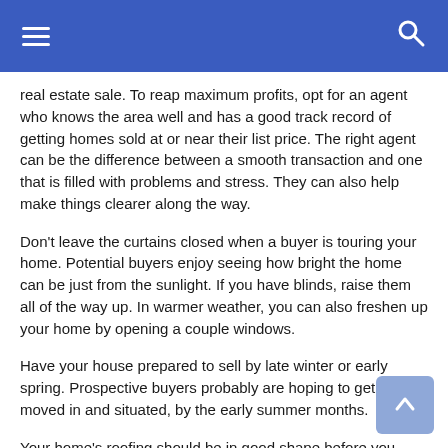real estate sale. To reap maximum profits, opt for an agent who knows the area well and has a good track record of getting homes sold at or near their list price. The right agent can be the difference between a smooth transaction and one that is filled with problems and stress. They can also help make things clearer along the way.
Don't leave the curtains closed when a buyer is touring your home. Potential buyers enjoy seeing how bright the home can be just from the sunlight. If you have blinds, raise them all of the way up. In warmer weather, you can also freshen up your home by opening a couple windows.
Have your house prepared to sell by late winter or early spring. Prospective buyers probably are hoping to get both moved in and situated, by the early summer months.
Your home's roofing should be in good shape before you place your residence on the market. Buyers will frequently avoid homes with faulty roofs because of the high cost...